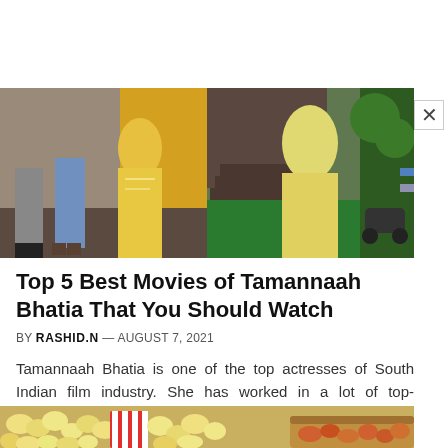[Figure (photo): Two people in yellow traditional Indian outfits, one in a yellow saree, at what appears to be a ceremonial or social event with yellow curtains and green carpet.]
Top 5 Best Movies of Tamannaah Bhatia That You Should Watch
BY RASHID.N — AUGUST 7, 2021
Tamannaah Bhatia is one of the top actresses of South Indian film industry. She has worked in a lot of top-grossing...
[Figure (photo): Close-up of popcorn in a red and white striped box alongside what appears to be snacks in a wicker basket.]